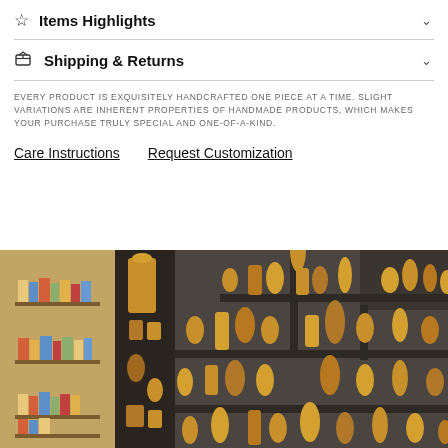Items Highlights
Shipping & Returns
EVERY PRODUCT IS EXQUISITELY HANDCRAFTED ONE PIECE AT A TIME. SLIGHT VARIATIONS ARE INHERENT PROPERTIES OF HANDMADE PRODUCTS, WHICH MAKES YOUR PURCHASE TRULY SPECIAL AND ONE-OF-A-KIND.
Care Instructions
Request Customization
[Figure (photo): Display shelves with golden handcrafted figurines and decorative items, alongside a wall shelf with books and small colorful objects. The figurines include chess pieces, vases, and various artistic sculptures in gold/orange tones on a dark stepped shelf display.]